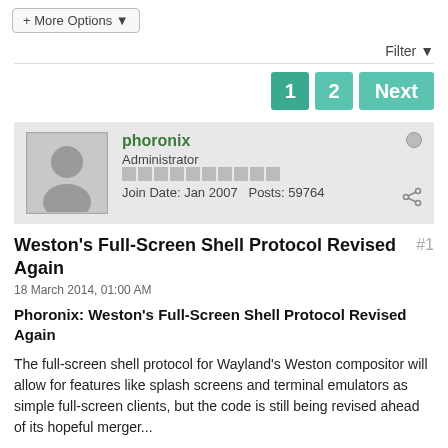+ More Options ▾
Filter ▾
1  2  Next
phoronix
Administrator
Join Date: Jan 2007  Posts: 59764
Weston's Full-Screen Shell Protocol Revised Again  #1
18 March 2014, 01:00 AM
Phoronix: Weston's Full-Screen Shell Protocol Revised Again
The full-screen shell protocol for Wayland's Weston compositor will allow for features like splash screens and terminal emulators as simple full-screen clients, but the code is still being revised ahead of its hopeful merger...